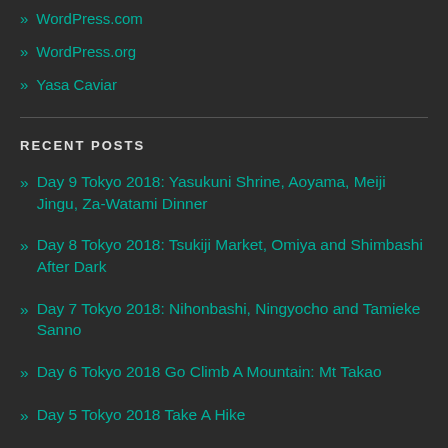» WordPress.com
» WordPress.org
» Yasa Caviar
RECENT POSTS
» Day 9 Tokyo 2018: Yasukuni Shrine, Aoyama, Meiji Jingu, Za-Watami Dinner
» Day 8 Tokyo 2018: Tsukiji Market, Omiya and Shimbashi After Dark
» Day 7 Tokyo 2018: Nihonbashi, Ningyocho and Tamieke Sanno
» Day 6 Tokyo 2018 Go Climb A Mountain: Mt Takao
» Day 5 Tokyo 2018 Take A Hike